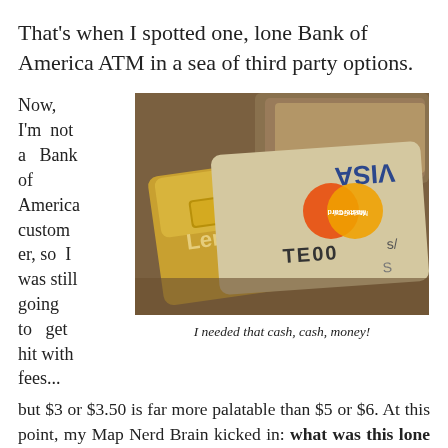That's when I spotted one, lone Bank of America ATM in a sea of third party options.
[Figure (photo): Close-up photo of credit cards including a Visa card and a MasterCard, fanned out showing gold and silver cards with 'TE00' visible on one card.]
I needed that cash, cash, money!
Now, I'm not a Bank of America customer, so I was still going to get hit with fees... but $3 or $3.50 is far more palatable than $5 or $6. At this point, my Map Nerd Brain kicked in: what was this lone bank-affiliated ATM doing right on the strip? I'd walked around that area